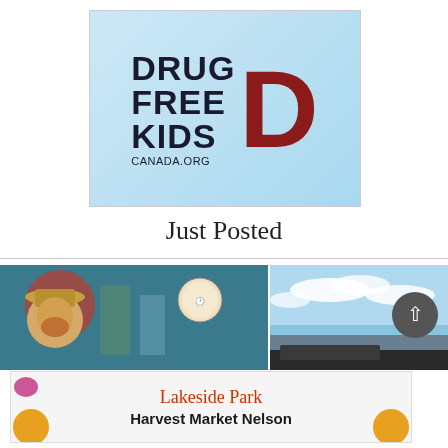[Figure (logo): Drug Free Kids Canada.org logo on light blue background with large dark red D letter]
Just Posted
[Figure (photo): Man wearing hat in a teal/colorful interior setting]
[Figure (photo): Blue sky with clouds and partial vehicle]
[Figure (illustration): Lakeside Park Harvest Market Nelson advertisement banner]